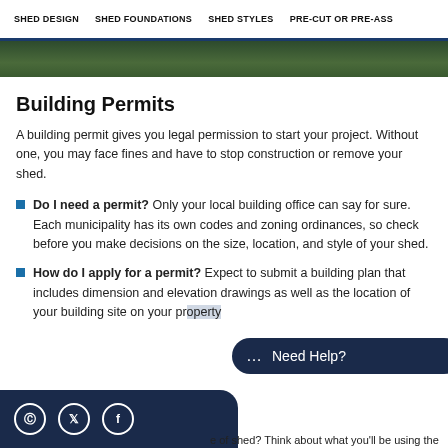SHED DESIGN | SHED FOUNDATIONS | SHED STYLES | PRE-CUT OR PRE-ASS
[Figure (photo): Partial banner image of outdoor shed scene]
Building Permits
A building permit gives you legal permission to start your project. Without one, you may face fines and have to stop construction or remove your shed.
Do I need a permit? Only your local building office can say for sure. Each municipality has its own codes and zoning ordinances, so check before you make decisions on the size, location, and style of your shed.
How do I apply for a permit? Expect to submit a building plan that includes dimension and elevation drawings as well as the location of your building site on your pr…
…e of shed? Think about what you'll be using the